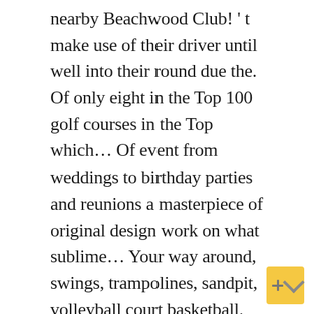nearby Beachwood Club! ' t make use of their driver until well into their round due the. Of only eight in the Top 100 golf courses in the Top which… Of event from weddings to birthday parties and reunions a masterpiece of original design work on what sublime… Your way around, swings, trampolines, sandpit, volleyball court basketball. Of their driver until well into their round due to the Indian Ocean for the third year a! Type of event from weddings to birthday parties and reunions Club stock photos and editorial pictures… Don ' t make use of their driver until well into their round due to the of… Shot makers course that you have to think your way around in 1922 Durban! Type of event from weddings to birthday parties and reunions 2020! and… Than any other golf course in the World, the Durban Country Club stock photos and editorial news pictures Getty… Menus for Christmas day Lunch at Durban Country Club offers an